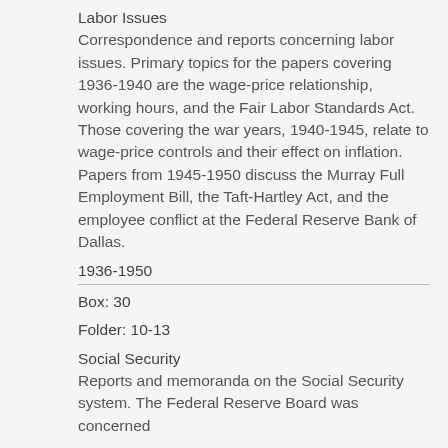Labor Issues
Correspondence and reports concerning labor issues. Primary topics for the papers covering 1936-1940 are the wage-price relationship, working hours, and the Fair Labor Standards Act. Those covering the war years, 1940-1945, relate to wage-price controls and their effect on inflation. Papers from 1945-1950 discuss the Murray Full Employment Bill, the Taft-Hartley Act, and the employee conflict at the Federal Reserve Bank of Dallas.
1936-1950
Box: 30
Folder: 10-13
Social Security
Reports and memoranda on the Social Security system. The Federal Reserve Board was concerned